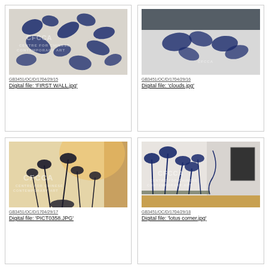[Figure (photo): Close-up photo of blue floral/botanical pattern on white background, CFCCA watermark overlay]
GB3451/OC/D/1704/29/15
Digital file: 'FIRST WALL.jpg'
[Figure (photo): Gallery interior photo with blue floral wall art on white wall, CFCCA watermark overlay]
GB3451/OC/D/1704/29/16
Digital file: 'clouds.jpg'
[Figure (photo): Gallery interior with lotus/poppy dark silhouette wall installation on warm-lit wall, CFCCA watermark overlay]
GB3451/OC/D/1704/29/17
Digital file: 'PICT0358.JPG'
[Figure (photo): Gallery corner with blue lotus wall painting installation and framed artwork, CFCCA watermark overlay]
GB3451/OC/D/1704/29/18
Digital file: 'lotus corner.jpg'